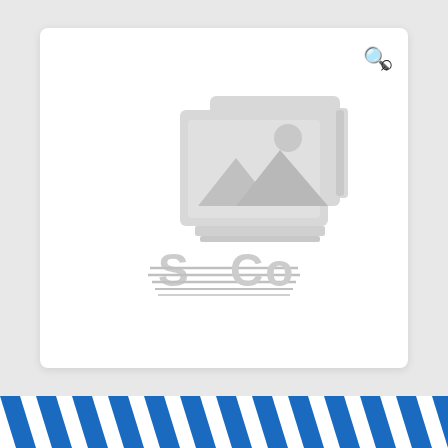[Figure (illustration): Placeholder image card with a generic image/gallery icon (two overlapping photo frames with a mountain and sun scene) and the text 'S CO' (SOCO watermark) below, on a white rounded card over a light gray background. A search magnifying glass icon appears in the top right of the card.]
[Figure (illustration): Bottom stripe bar with diagonal blue and white stripes (hazard/caution pattern) in blue and white across the full page width.]